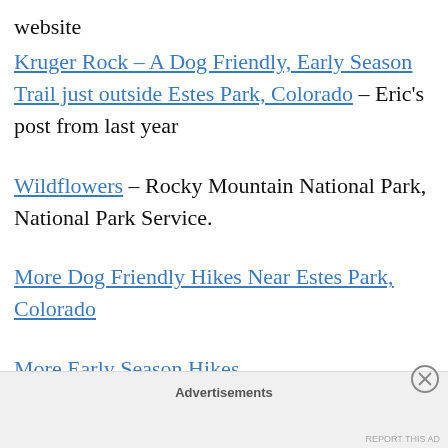website
Kruger Rock – A Dog Friendly, Early Season Trail just outside Estes Park, Colorado – Eric’s post from last year
Wildflowers – Rocky Mountain National Park, National Park Service.
More Dog Friendly Hikes Near Estes Park, Colorado
More Early Season Hikes
Advertisements